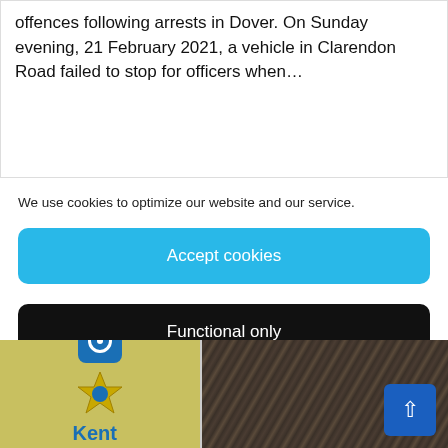offences following arrests in Dover. On Sunday evening, 21 February 2021, a vehicle in Clarendon Road failed to stop for officers when…
We use cookies to optimize our website and our service.
Accept cookies
Functional only
View preferences
[Figure (photo): Kent Police logo with blue camera icon and gold star badge on yellow-green background, alongside a close-up of a dog's dark fur]